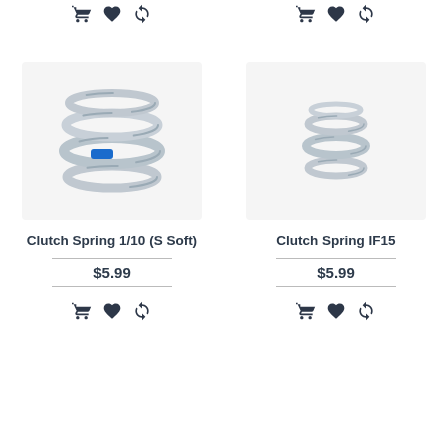[Figure (photo): Shopping cart, heart, and refresh icons at top of left product column]
[Figure (photo): Shopping cart, heart, and refresh icons at top of right product column]
[Figure (photo): Clutch Spring 1/10 (S Soft) - coil spring with blue marking, large size]
[Figure (photo): Clutch Spring IF15 - small silver coil spring]
Clutch Spring 1/10 (S Soft)
$5.99
Clutch Spring IF15
$5.99